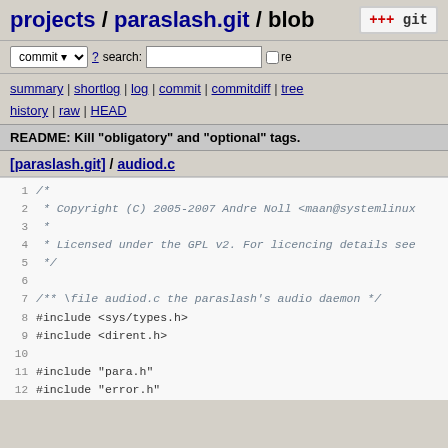projects / paraslash.git / blob
commit ? search: re
summary | shortlog | log | commit | commitdiff | tree history | raw | HEAD
README: Kill "obligatory" and "optional" tags.
[paraslash.git] / audiod.c
1  /*
2   * Copyright (C) 2005-2007 Andre Noll <maan@systemlinux...>
3   *
4   * Licensed under the GPL v2. For licencing details see...
5   */
6
7  /** \file audiod.c the paraslash's audio daemon */
8  #include <sys/types.h>
9  #include <dirent.h>
10
11 #include "para.h"
12 #include "error.h"
13 #include "audiod.cmdline.h"
14 #include "list.h"
15 #include "sched.h"
16 #include "recv.h"
17 #include "filter.h"
18 #include "grab_client.cmdline.h"
19 #include "grab_client.h"